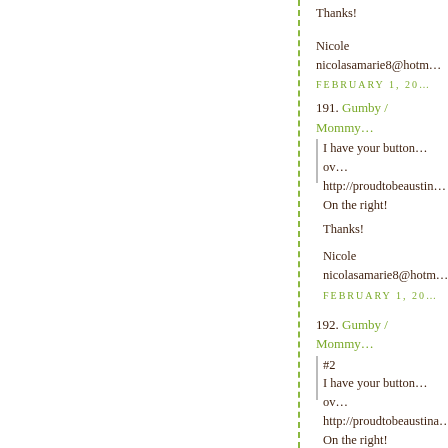Thanks!
Nicole
ncolasamarie8@hotm...
FEBRUARY 1, 20...
191. Gumby / Mommy...
I have your button...ov...
http://proudtobeaustin...
On the right!
Thanks!
Nicole
nicolasamarie8@hotm...
FEBRUARY 1, 20...
192. Gumby / Mommy...
#2
I have your button...ov...
http://proudtobeaustina...
On the right!
Thanks!